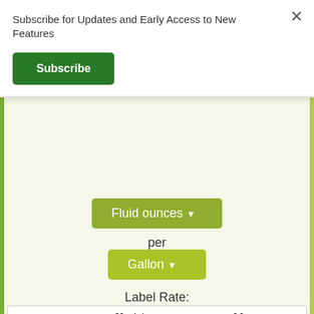Subscribe for Updates and Early Access to New Features
Subscribe
Fluid ounces
per
Gallon
Label Rate:
64 - 128 fluid ounces per gallon
Cost Effectiveness:
Makes 0.5 - 1 gallons
at a cost of
$63.59 - $127.18 per gallon